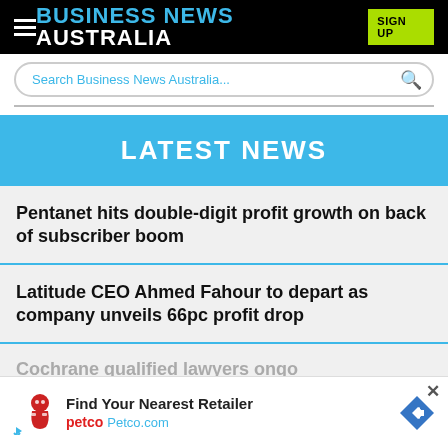BUSINESS NEWS AUSTRALIA
Search Business News Australia...
LATEST NEWS
Pentanet hits double-digit profit growth on back of subscriber boom
Latitude CEO Ahmed Fahour to depart as company unveils 66pc profit drop
Cochrane qualified lawyers ongoing
[Figure (screenshot): Petco advertisement banner: Find Your Nearest Retailer - Petco.com with Petco logo and navigation arrow icon]